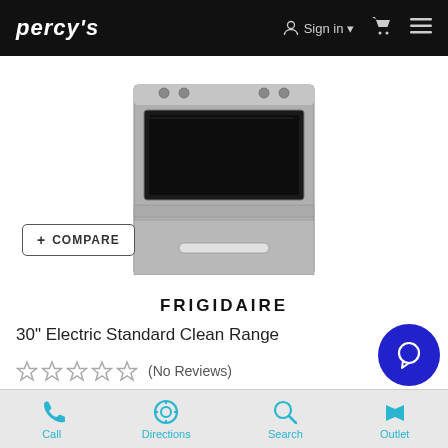PERCY'S   Sign in   [cart]   [menu]
[Figure (photo): Frigidaire 30 inch electric range oven, stainless steel with black oven window and storage drawer]
+ COMPARE
FRIGIDAIRE
30" Electric Standard Clean Range
☆☆☆☆☆ (No Reviews)
$929.99  $699.96
Qualifies for rebates
Schedule a Visit
Call   Directions   Search   Outlet